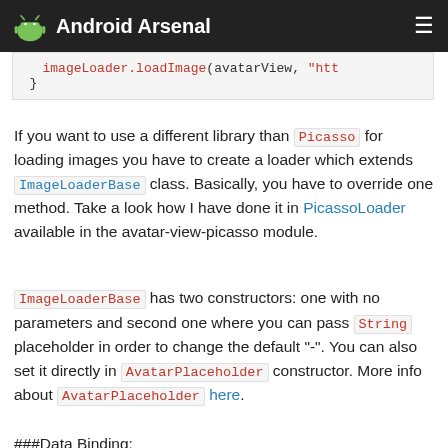Android Arsenal
imageLoader.loadImage(avatarView, "htt
    }
If you want to use a different library than Picasso for loading images you have to create a loader which extends ImageLoaderBase class. Basically, you have to override one method. Take a look how I have done it in PicassoLoader available in the avatar-view-picasso module.
ImageLoaderBase has two constructors: one with no parameters and second one where you can pass String placeholder in order to change the default "-". You can also set it directly in AvatarPlaceholder constructor. More info about AvatarPlaceholder here.
###Data Binding: